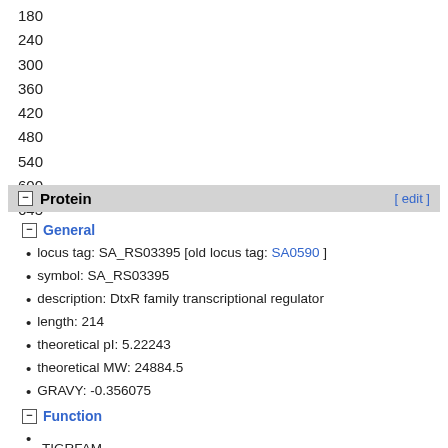180
240
300
360
420
480
540
600
645
Protein
General
locus tag: SA_RS03395 [old locus tag: SA0590 ]
symbol: SA_RS03395
description: DtxR family transcriptional regulator
length: 214
theoretical pI: 5.22243
theoretical MW: 24884.5
GRAVY: -0.356075
Function
TIGRFAM